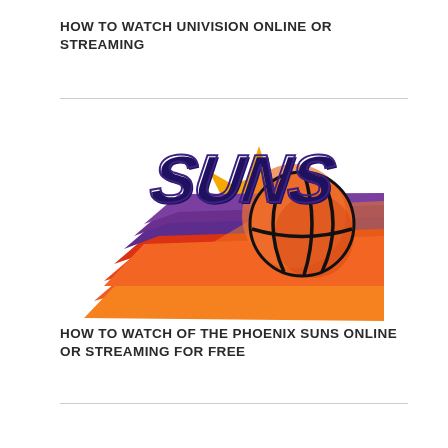HOW TO WATCH UNIVISION ONLINE OR STREAMING
[Figure (logo): Phoenix Suns NBA team logo featuring the word SUNS in purple bold italic letters with orange/red speed streaks and a basketball in front of a golden sun with rays]
HOW TO WATCH OF THE PHOENIX SUNS ONLINE OR STREAMING FOR FREE